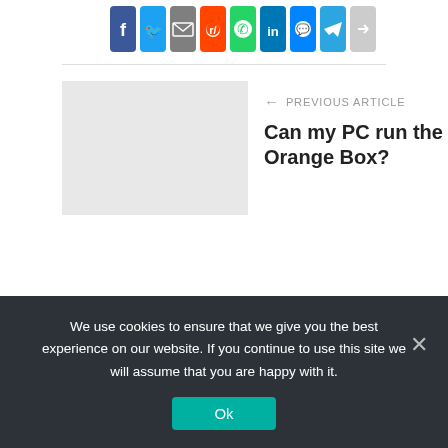[Figure (illustration): Row of social media sharing icons: Facebook, Twitter, Email, Reddit, WhatsApp, LinkedIn, Messenger, Telegram, Share]
← PREVIOUS ARTICLE
Can my PC run the Orange Box?
We use cookies to ensure that we give you the best experience on our website. If you continue to use this site we will assume that you are happy with it.
Ok